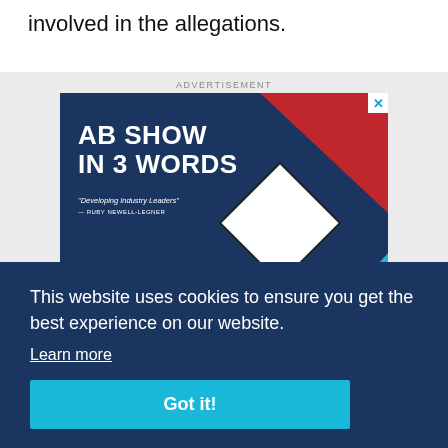involved in the allegations.
[Figure (screenshot): Advertisement banner for AB Show with text 'AB SHOW IN 3 WORDS' and quote 'Developing Industry Leaders' - Ruby Newell-Legner, with image of a blonde woman and geometric red/blue shapes]
This website uses cookies to ensure you get the best experience on our website.
Learn more
Got it!
hio
he
school ignored or failed to stop Strauss' sexual